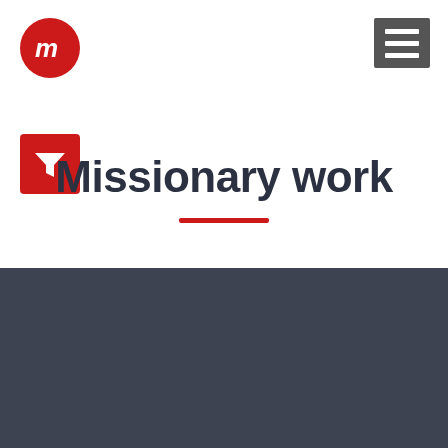[Figure (logo): Red circular logo with white stylized 'M' letters inside]
[Figure (other): Dark gray hamburger menu icon with three horizontal white lines]
[Figure (other): Red square filter/funnel icon]
Missionary work
We use cookies on this site to enhance your user experience
By clicking any link on this page you are giving your consent for us to set cookies.
More info ❯